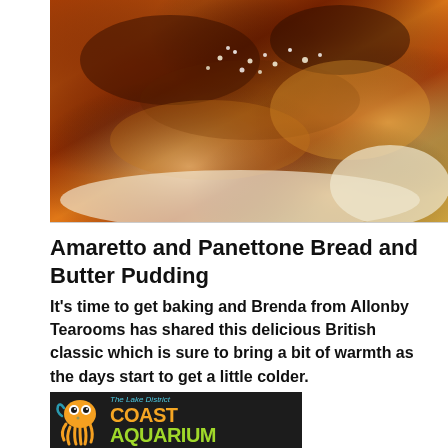[Figure (photo): Close-up photo of Amaretto and Panettone Bread and Butter Pudding — golden-brown caramelized top with visible sugar crystals, soft creamy interior visible at bottom edges]
Amaretto and Panettone Bread and Butter Pudding
It's time to get baking and Brenda from Allonby Tearooms has shared this delicious British classic which is sure to bring a bit of warmth as the days start to get a little colder.
[Figure (logo): The Lake District Coast Aquarium logo — dark background with orange cartoon octopus on the left, teal italic text 'The Lake District' above, large orange bold text 'COAST' and bright green bold text 'AQUARIUM']